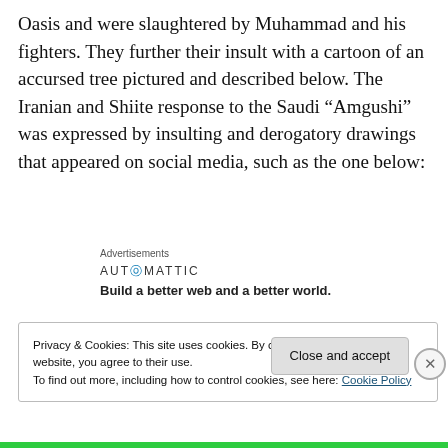Oasis and were slaughtered by Muhammad and his fighters. They further their insult with a cartoon of an accursed tree pictured and described below. The Iranian and Shiite response to the Saudi “Amgushi” was expressed by insulting and derogatory drawings that appeared on social media, such as the one below:
[Figure (other): Automattic advertisement: logo text 'AUTOMATTIC' with a blue dot over the O, and tagline 'Build a better web and a better world.']
Privacy & Cookies: This site uses cookies. By continuing to use this website, you agree to their use.
To find out more, including how to control cookies, see here: Cookie Policy
Close and accept